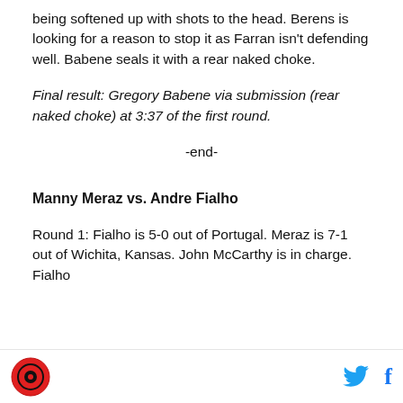being softened up with shots to the head. Berens is looking for a reason to stop it as Farran isn't defending well. Babene seals it with a rear naked choke.
Final result: Gregory Babene via submission (rear naked choke) at 3:37 of the first round.
-end-
Manny Meraz vs. Andre Fialho
Round 1: Fialho is 5-0 out of Portugal. Meraz is 7-1 out of Wichita, Kansas. John McCarthy is in charge. Fialho
MMA logo | Twitter | Facebook